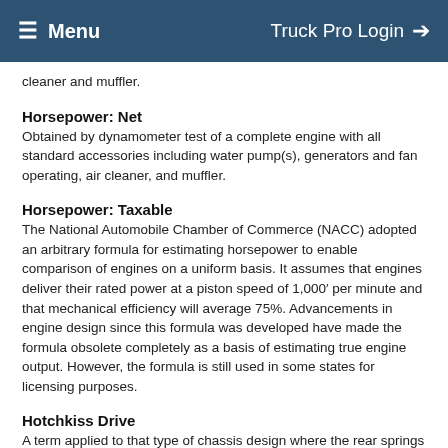≡ Menu   Truck Pro Login →
cleaner and muffler.
Horsepower: Net
Obtained by dynamometer test of a complete engine with all standard accessories including water pump(s), generators and fan operating, air cleaner, and muffler.
Horsepower: Taxable
The National Automobile Chamber of Commerce (NACC) adopted an arbitrary formula for estimating horsepower to enable comparison of engines on a uniform basis. It assumes that engines deliver their rated power at a piston speed of 1,000′ per minute and that mechanical efficiency will average 75%. Advancements in engine design since this formula was developed have made the formula obsolete completely as a basis of estimating true engine output. However, the formula is still used in some states for licensing purposes.
Hotchkiss Drive
A term applied to that type of chassis design where the rear springs are mounted at the forward end in a stationary bracket (not shackled as at